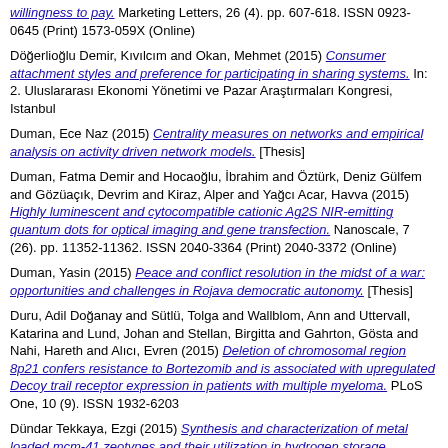willingness to pay. Marketing Letters, 26 (4). pp. 607-618. ISSN 0923-0645 (Print) 1573-059X (Online)
Döğerlioğlu Demir, Kıvılcım and Okan, Mehmet (2015) Consumer attachment styles and preference for participating in sharing systems. In: 2. Uluslararası Ekonomi Yönetimi ve Pazar Araştırmaları Kongresi, Istanbul
Duman, Ece Naz (2015) Centrality measures on networks and empirical analysis on activity driven network models. [Thesis]
Duman, Fatma Demir and Hocaoğlu, İbrahim and Öztürk, Deniz Gülfem and Gözüaçık, Devrim and Kiraz, Alper and Yağcı Acar, Havva (2015) Highly luminescent and cytocompatible cationic Ag2S NIR-emitting quantum dots for optical imaging and gene transfection. Nanoscale, 7 (26). pp. 11352-11362. ISSN 2040-3364 (Print) 2040-3372 (Online)
Duman, Yasin (2015) Peace and conflict resolution in the midst of a war: opportunities and challenges in Rojava democratic autonomy. [Thesis]
Duru, Adil Doğanay and Sütlü, Tolga and Wallblom, Ann and Uttervall, Katarina and Lund, Johan and Stellan, Birgitta and Gahrton, Gösta and Nahi, Hareth and Alıcı, Evren (2015) Deletion of chromosomal region 8p21 confers resistance to Bortezomib and is associated with upregulated Decoy trail receptor expression in patients with multiple myeloma. PLoS One, 10 (9). ISSN 1932-6203
Dündar Tekkaya, Ezgi (2015) Synthesis and characterization of metal loaded mcm-41 zeotypes and their utilization in hydrogen storage. [Thesis]
Dündar Tekkaya, Ezgi and Karatepe, Nilgün (2015) Effect of reaction time, weight ratio, and type of catalyst on the yield of single-wall carbon nanotubes synthesized by chemical vapor deposition of acetylene. Fullerene...